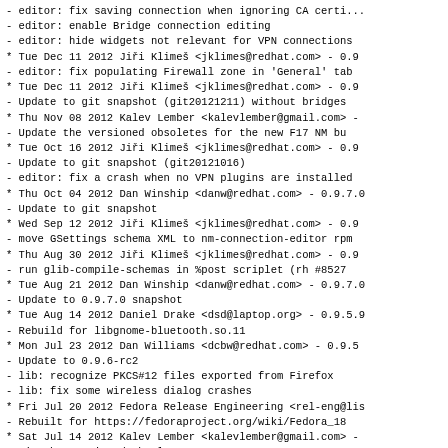- editor: fix saving connection when ignoring CA certi...
- editor: enable Bridge connection editing
- editor: hide widgets not relevant for VPN connections
* Tue Dec 11 2012 Jiři Klimeš <jklimes@redhat.com> - 0.9...
- editor: fix populating Firewall zone in 'General' tab
* Tue Dec 11 2012 Jiři Klimeš <jklimes@redhat.com> - 0.9...
- Update to git snapshot (git20121211) without bridges
* Thu Nov 08 2012 Kalev Lember <kalevlember@gmail.com> -...
- Update the versioned obsoletes for the new F17 NM bu...
* Tue Oct 16 2012 Jiři Klimeš <jklimes@redhat.com> - 0.9...
- Update to git snapshot (git20121016)
- editor: fix a crash when no VPN plugins are installed
* Thu Oct 04 2012 Dan Winship <danw@redhat.com> - 0.9.7.0
- Update to git snapshot
* Wed Sep 12 2012 Jiři Klimeš <jklimes@redhat.com> - 0.9...
- move GSettings schema XML to nm-connection-editor rpm
* Thu Aug 30 2012 Jiři Klimeš <jklimes@redhat.com> - 0.9...
- run glib-compile-schemas in %post scriplet (rh #85279
* Tue Aug 21 2012 Dan Winship <danw@redhat.com> - 0.9.7.0
- Update to 0.9.7.0 snapshot
* Tue Aug 14 2012 Daniel Drake <dsd@laptop.org> - 0.9.5.9
- Rebuild for libgnome-bluetooth.so.11
* Mon Jul 23 2012 Dan Williams <dcbw@redhat.com> - 0.9.5...
- Update to 0.9.6-rc2
- lib: recognize PKCS#12 files exported from Firefox
- lib: fix some wireless dialog crashes
* Fri Jul 20 2012 Fedora Release Engineering <rel-eng@lis...
- Rebuilt for https://fedoraproject.org/wiki/Fedora_18...
* Sat Jul 14 2012 Kalev Lember <kalevlember@gmail.com> -...
- Fix the versioned obsoletes
* Fri Jul 13 2012 Jiři Klimeš <jklimes@redhat.com> - 0.9...